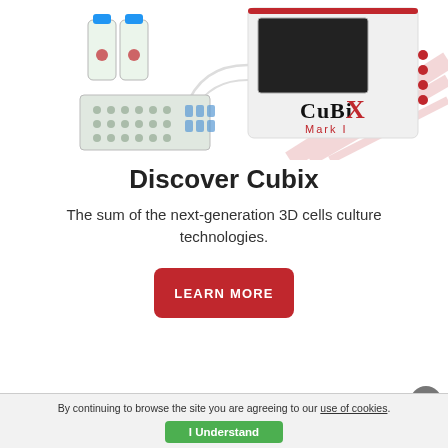[Figure (photo): Laboratory equipment photo showing the CuBiX Mark I device — a white and red electronic instrument with a screen, connected via tubing to glass bottles and a multi-well plate. The CuBiX Mark I logo is overlaid on the bottom-right of the image.]
Discover Cubix
The sum of the next-generation 3D cells culture technologies.
LEARN MORE
By continuing to browse the site you are agreeing to our use of cookies.
I Understand